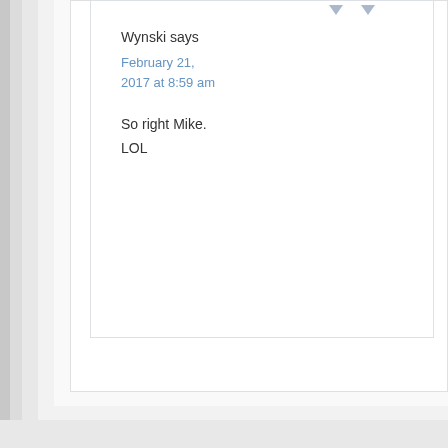Wynski says
February 21, 2017 at 8:59 am
So right Mike.
LOL